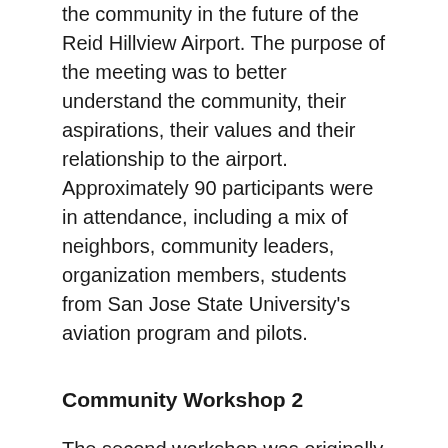the community in the future of the Reid Hillview Airport. The purpose of the meeting was to better understand the community, their aspirations, their values and their relationship to the airport. Approximately 90 participants were in attendance, including a mix of neighbors, community leaders, organization members, students from San Jose State University's aviation program and pilots.
Community Workshop 2
The second workshop was originally planned as an in-person workshop but shifted to virtual as a result of shelter-in-place requirements. The format of the engagement included a video presentation and an online survey with goals to recap what was heard in Community Workshop #1 and continue the